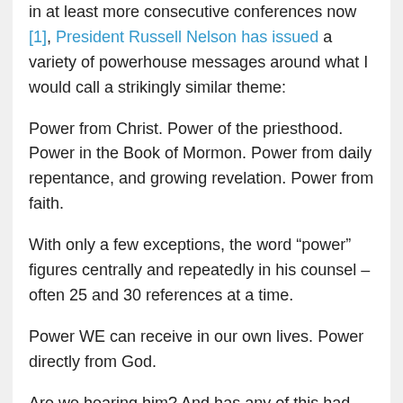in at least more consecutive conferences now [1], President Russell Nelson has issued a variety of powerhouse messages around what I would call a strikingly similar theme:
Power from Christ. Power of the priesthood. Power in the Book of Mormon. Power from daily repentance, and growing revelation. Power from faith.
With only a few exceptions, the word “power” figures centrally and repeatedly in his counsel – often 25 and 30 references at a time.
Power WE can receive in our own lives. Power directly from God.
Are we hearing him? And has any of this had any measurable impact in our lives?
I’ve been asking this in my own life. Looking back over the last six years, I’ve been reflecting lately about whether I could see any real evidence of God’s power growing in my